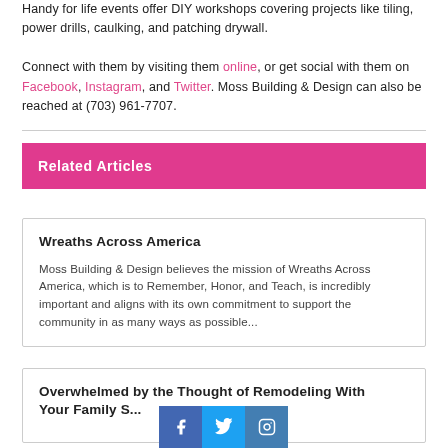Handy for life events offer DIY workshops covering projects like tiling, power drills, caulking, and patching drywall.

Connect with them by visiting them online, or get social with them on Facebook, Instagram, and Twitter. Moss Building & Design can also be reached at (703) 961-7707.
Related Articles
Wreaths Across America
Moss Building & Design believes the mission of Wreaths Across America, which is to Remember, Honor, and Teach, is incredibly important and aligns with its own commitment to support the community in as many ways as possible...
Overwhelmed by the Thought of Remodeling With Your Family S...